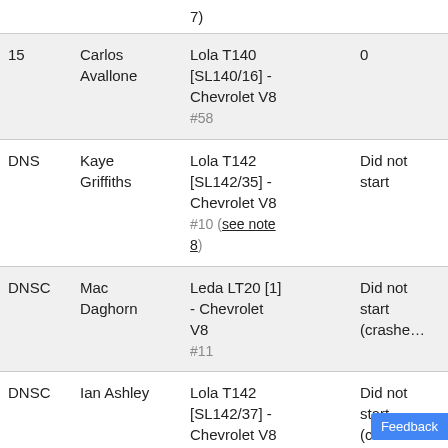| Pos | Driver | Car | Notes |
| --- | --- | --- | --- |
|  |  | 7) |  |
| 15 | Carlos Avallone | Lola T140 [SL140/16] - Chevrolet V8 #58 | 0 |
| DNS | Kaye Griffiths | Lola T142 [SL142/35] - Chevrolet V8 #10 (see note 8) | Did not start |
| DNSC | Mac Daghorn | Leda LT20 [1] - Chevrolet V8 #11 | Did not start (crashed… |
| DNSC | Ian Ashley | Lola T142 [SL142/37] - Chevrolet V8… | Did not start (crashed… |